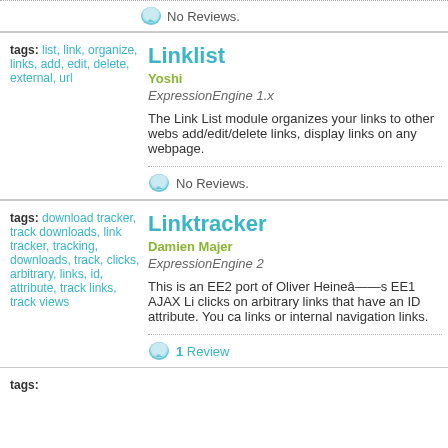No Reviews.
tags: list, link, organize, links, add, edit, delete, external, url
Linklist
Yoshi
ExpressionEngine 1.x
The Link List module organizes your links to other webs add/edit/delete links, display links on any webpage.
No Reviews.
tags: download tracker, track downloads, link tracker, tracking, downloads, track, clicks, arbitrary, links, id, attribute, track links, track views
Linktracker
Damien Majer
ExpressionEngine 2
This is an EE2 port of Oliver Heineâs EE1 AJAX Li clicks on arbitrary links that have an ID attribute. You ca links or internal navigation links.
1 Review